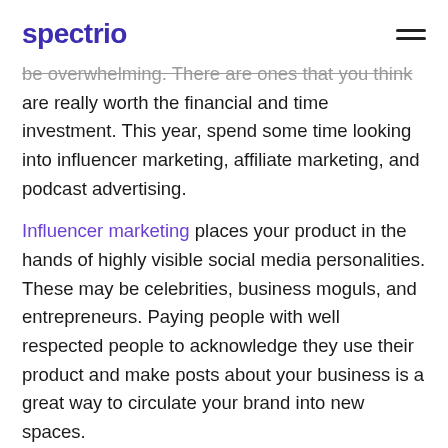spectrio
be overwhelming. There are ones that you think are really worth the financial and time investment. This year, spend some time looking into influencer marketing, affiliate marketing, and podcast advertising.
Influencer marketing places your product in the hands of highly visible social media personalities. These may be celebrities, business moguls, and entrepreneurs. Paying people with well respected people to acknowledge they use their product and make posts about your business is a great way to circulate your brand into new spaces.
Affiliate marketing is very similar. You pay other